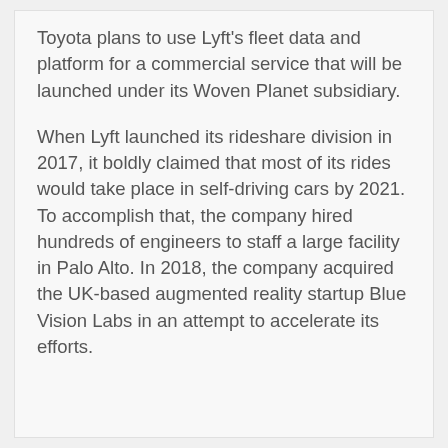Toyota plans to use Lyft's fleet data and platform for a commercial service that will be launched under its Woven Planet subsidiary.
When Lyft launched its rideshare division in 2017, it boldly claimed that most of its rides would take place in self-driving cars by 2021. To accomplish that, the company hired hundreds of engineers to staff a large facility in Palo Alto. In 2018, the company acquired the UK-based augmented reality startup Blue Vision Labs in an attempt to accelerate its efforts.